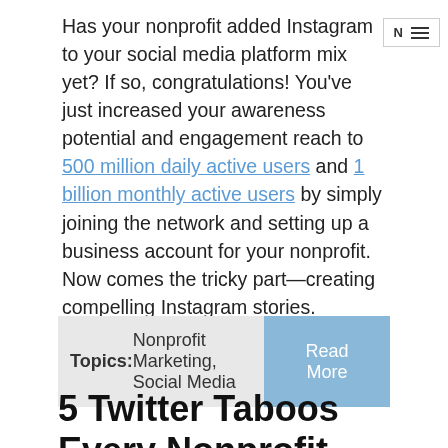Has your nonprofit added Instagram to your social media platform mix yet? If so, congratulations! You've just increased your awareness potential and engagement reach to 500 million daily active users and 1 billion monthly active users by simply joining the network and setting up a business account for your nonprofit. Now comes the tricky part—creating compelling Instagram stories.
Topics: Nonprofit Marketing, Social Media
5 Twitter Taboos Every Nonprofit Should Avoid Like the Plague